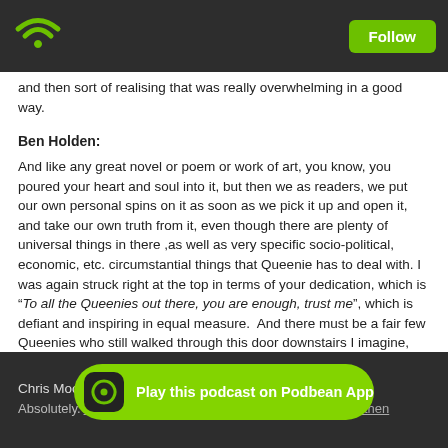Follow
and then sort of realising that was really overwhelming in a good way.
Ben Holden:
And like any great novel or poem or work of art, you know, you poured your heart and soul into it, but then we as readers, we put our own personal spins on it as soon as we pick it up and open it, and take our own truth from it, even though there are plenty of universal things in there ,as well as very specific socio-political, economic, etc. circumstantial things that Queenie has to deal with. I was again struck right at the top in terms of your dedication, which is “To all the Queenies out there, you are enough, trust me”, which is defiant and inspiring in equal measure.  And there must be a fair few Queenies who still walked through this door downstairs I imagine, Chris, you must recognise Queenie?
Chris Moo
Absolutely. And if this can inspire those Queenies out there, then